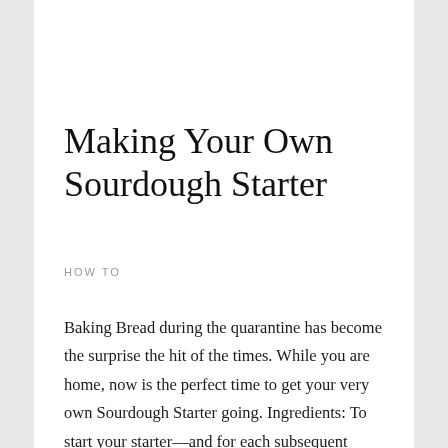Making Your Own Sourdough Starter
HOW TO
Baking Bread during the quarantine has become the surprise the hit of the times. While you are home, now is the perfect time to get your very own Sourdough Starter going. Ingredients: To start your starter—and for each subsequent feeding—you will need: 20 grams rye flour or